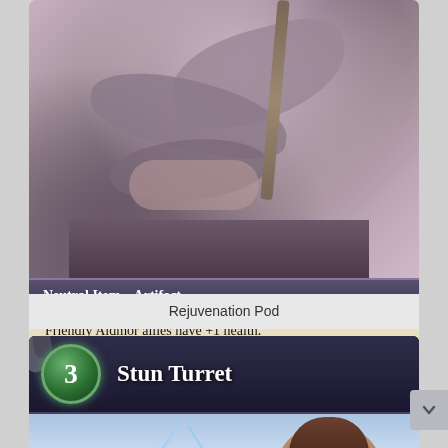[Figure (illustration): Trading card game card image showing a fantasy artifact (Rejuvenation Pod) — a creature with tentacle-like limbs holding a staff in a stone room setting. Card shows type bar 'Neutral Item – Artifact', text box with abilities, flavor text, and set info 'Lands 147/200 U'. Art by Shawn Kennedy, (c) 2012 Wolven Game Studios.]
Rejuvenation Pod
[Figure (illustration): Trading card game card showing 'Stun Turret' with cost 3 (green gem), card name in bold white text on dark blue banner. Image shows lightning effects and a figure (humanoid with horns) in blue-white background tones.]